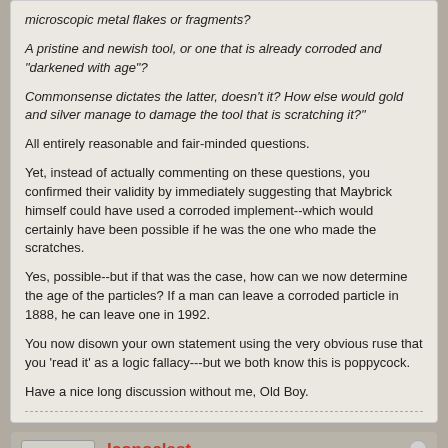microscopic metal flakes or fragments?
A pristine and newish tool, or one that is already corroded and "darkened with age"?
Commonsense dictates the latter, doesn't it? How else would gold and silver manage to damage the tool that is scratching it?"
All entirely reasonable and fair-minded questions.
Yet, instead of actually commenting on these questions, you confirmed their validity by immediately suggesting that Maybrick himself could have used a corroded implement--which would certainly have been possible if he was the one who made the scratches.
Yes, possible--but if that was the case, how can we now determine the age of the particles? If a man can leave a corroded particle in 1888, he can leave one in 1992.
You now disown your own statement using the very obvious ruse that you 'read it' as a logic fallacy---but we both know this is poppycock.
Have a nice long discussion without me, Old Boy.
Iconoclast
Superintendent